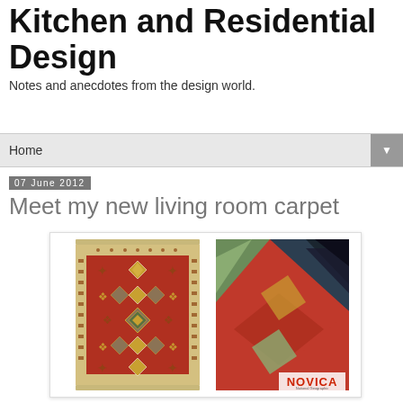Kitchen and Residential Design
Notes and anecdotes from the design world.
Home
07 June 2012
Meet my new living room carpet
[Figure (photo): Two rug images side by side: left shows a full red Kilim-style wool rug with geometric diamond and cross patterns in red, gold, green, and beige with decorative border; right shows a close-up detail of a colorful rug with leaf/flame patterns in red, green, gold, and dark navy, with NOVICA logo in lower right corner.]